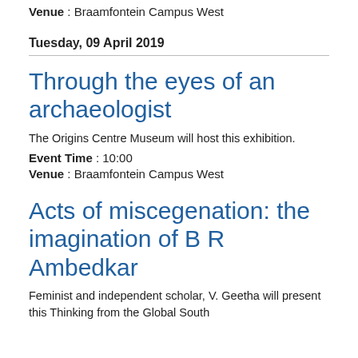Venue : Braamfontein Campus West
Tuesday, 09 April 2019
Through the eyes of an archaeologist
The Origins Centre Museum will host this exhibition.
Event Time : 10:00
Venue : Braamfontein Campus West
Acts of miscegenation: the imagination of B R Ambedkar
Feminist and independent scholar, V. Geetha will present this Thinking from the Global South